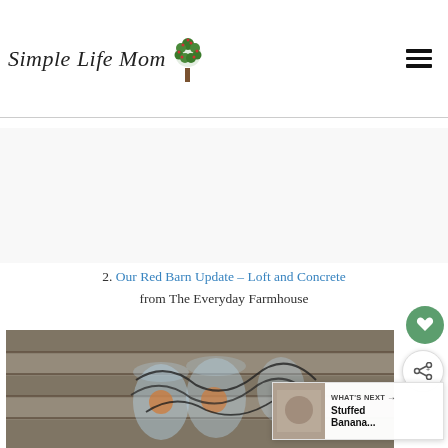Simple Life Mom
2. Our Red Barn Update – Loft and Concrete from The Everyday Farmhouse
[Figure (photo): Candles in mason jars with wire holders on a wooden surface]
WHAT'S NEXT → Stuffed Banana...